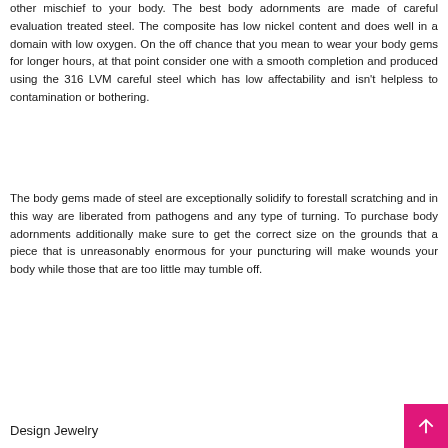other mischief to your body. The best body adornments are made of careful evaluation treated steel. The composite has low nickel content and does well in a domain with low oxygen. On the off chance that you mean to wear your body gems for longer hours, at that point consider one with a smooth completion and produced using the 316 LVM careful steel which has low affectability and isn't helpless to contamination or bothering.
The body gems made of steel are exceptionally solidify to forestall scratching and in this way are liberated from pathogens and any type of turning. To purchase body adornments additionally make sure to get the correct size on the grounds that a piece that is unreasonably enormous for your puncturing will make wounds your body while those that are too little may tumble off.
Design Jewelry